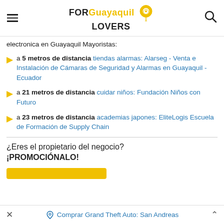FOR Guayaquil LOVERS
electronica en Guayaquil Mayoristas:
a 5 metros de distancia tiendas alarmas: Alarseg - Venta e Instalación de Cámaras de Seguridad y Alarmas en Guayaquil - Ecuador
a 21 metros de distancia cuidar niños: Fundación Niños con Futuro
a 23 metros de distancia academias japones: EliteLogis Escuela de Formación de Supply Chain
¿Eres el propietario del negocio? ¡PROMOCIÓNALO!
× Comprar Grand Theft Auto: San Andreas ^